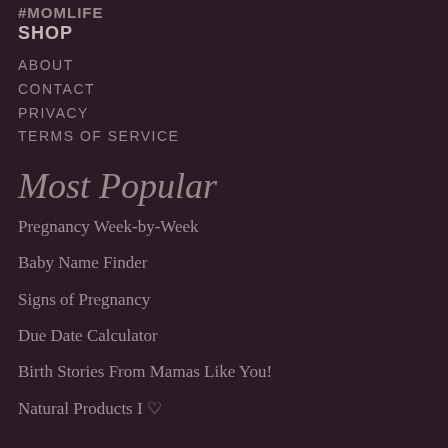#MOMLIFE
SHOP
ABOUT
CONTACT
PRIVACY
TERMS OF SERVICE
Most Popular
Pregnancy Week-by-Week
Baby Name Finder
Signs of Pregnancy
Due Date Calculator
Birth Stories From Mamas Like You!
Natural Products I ♥